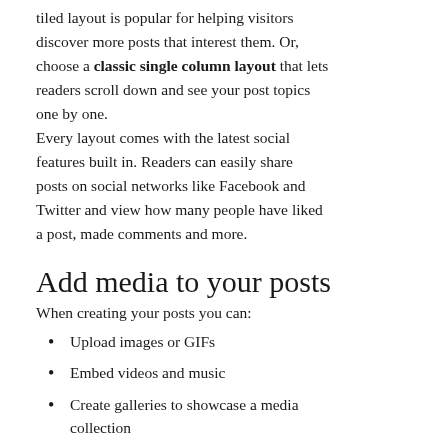tiled layout is popular for helping visitors discover more posts that interest them. Or, choose a classic single column layout that lets readers scroll down and see your post topics one by one.
Every layout comes with the latest social features built in. Readers can easily share posts on social networks like Facebook and Twitter and view how many people have liked a post, made comments and more.
Add media to your posts
When creating your posts you can:
Upload images or GIFs
Embed videos and music
Create galleries to showcase a media collection